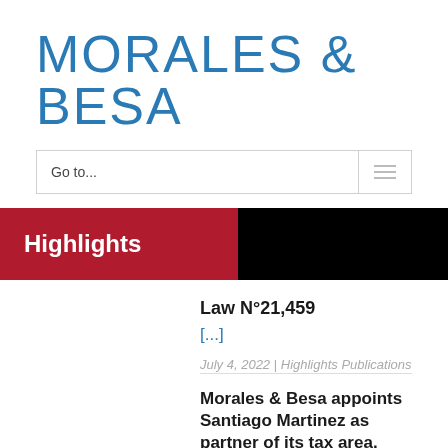MORALES & BESA
Go to...
Highlights
Law N°21,459
[...]
July 4, 2022 | Highlights  Publications
Morales & Besa appoints Santiago Martinez as partner of its tax area.
Santiago Martínez, a lawyer from